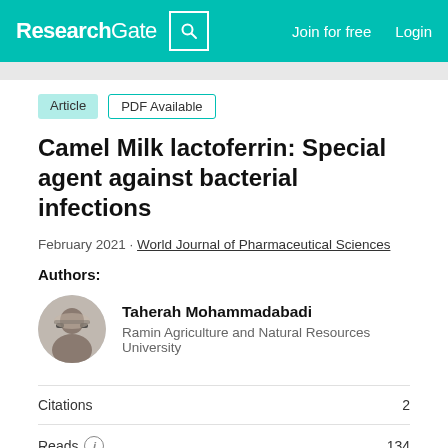ResearchGate  Join for free  Login
Article  PDF Available
Camel Milk lactoferrin: Special agent against bacterial infections
February 2021 · World Journal of Pharmaceutical Sciences
Authors:
Taherah Mohammadabadi
Ramin Agriculture and Natural Resources University
| Metric | Value |
| --- | --- |
| Citations | 2 |
| Reads | 134 |
| Recommendations | 10 |